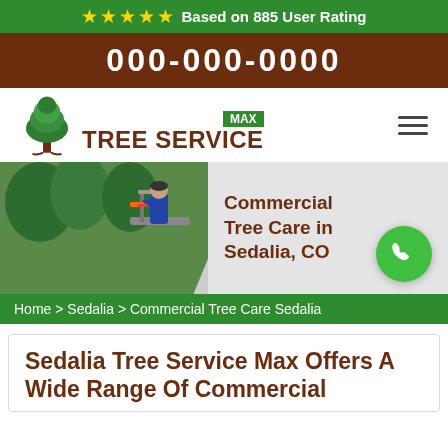★★★★★ Based on 885 User Rating
000-000-0000
[Figure (logo): Max Tree Service logo with green tree icon and brown text]
[Figure (photo): Worker in blue uniform using chainsaw in tree on aerial lift platform]
Commercial Tree Care in Sedalia, CO
Home > Sedalia > Commercial Tree Care Sedalia
Sedalia Tree Service Max Offers A Wide Range Of Commercial